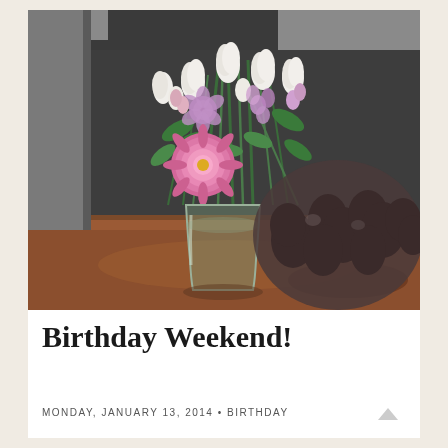[Figure (photo): A floral arrangement in a clear glass vase on a wooden table. The bouquet contains white tulips, purple/pink alstroemeria, and a large pink chrysanthemum. A dark metal decorative flower sculpture is visible to the right. The wall behind is dark gray.]
Birthday Weekend!
MONDAY, JANUARY 13, 2014 • BIRTHDAY